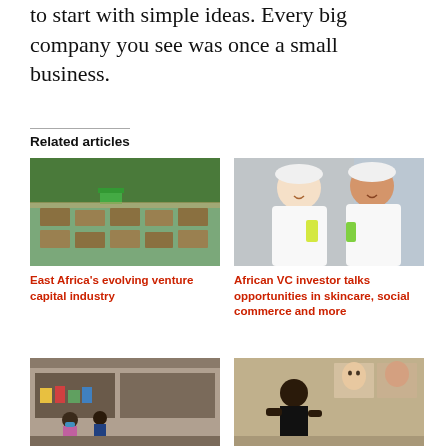to start with simple ideas. Every big company you see was once a small business.
Related articles
[Figure (photo): Aerial view of farm plots with a small green building surrounded by trees]
East Africa's evolving venture capital industry
[Figure (photo): Two women in white bathrobes and head towels holding skincare products]
African VC investor talks opportunities in skincare, social commerce and more
[Figure (photo): Street market scene with people in front of a shop]
[Figure (photo): Person standing in front of artworks on a textured wall]